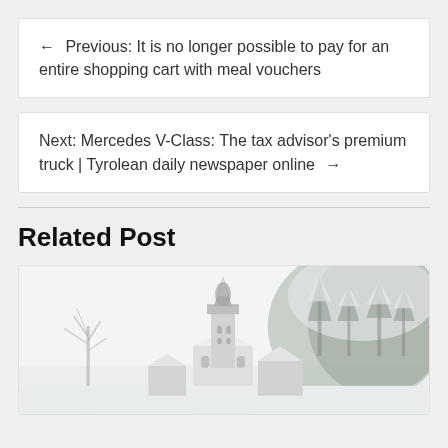← Previous: It is no longer possible to pay for an entire shopping cart with meal vouchers
Next: Mercedes V-Class: The tax advisor's premium truck | Tyrolean daily newspaper online →
Related Post
[Figure (photo): Winter scene with a church tower covered in snow, snow-covered trees and rooftops, misty winter landscape]